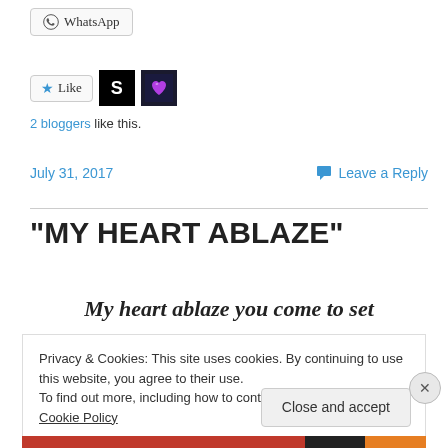[Figure (other): WhatsApp share button with WhatsApp circle icon]
[Figure (other): Like button with star icon, followed by two blogger avatar thumbnails (S letter black square, heart purple square)]
2 bloggers like this.
July 31, 2017
Leave a Reply
“MY HEART ABLAZE”
My heart ablaze you come to set
Privacy & Cookies: This site uses cookies. By continuing to use this website, you agree to their use.
To find out more, including how to control cookies, see here: Cookie Policy
Close and accept